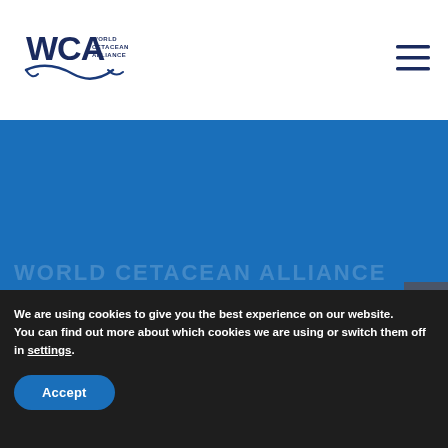[Figure (logo): WCA World Cetacean Alliance logo with whale tail graphic in dark blue]
[Figure (other): Hamburger menu icon (three horizontal lines) in dark blue on white background]
WORLD CETACEAN ALLIANCE
We are using cookies to give you the best experience on our website.
You can find out more about which cookies we are using or switch them off in settings.
Accept